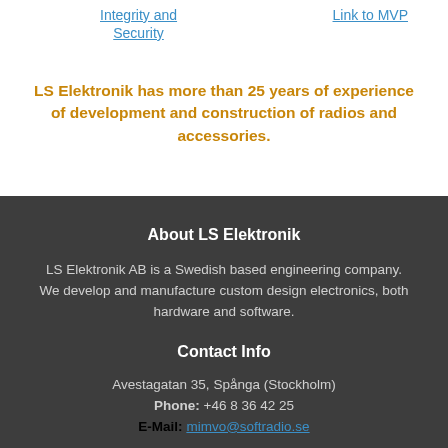Integrity and Security
Link to MVP
LS Elektronik has more than 25 years of experience of development and construction of radios and accessories.
About LS Elektronik
LS Elektronik AB is a Swedish based engineering company. We develop and manufacture custom design electronics, both hardware and software.
Contact Info
Avestagatan 35, Spånga (Stockholm)
Phone: +46 8 36 42 25
E-Mail: